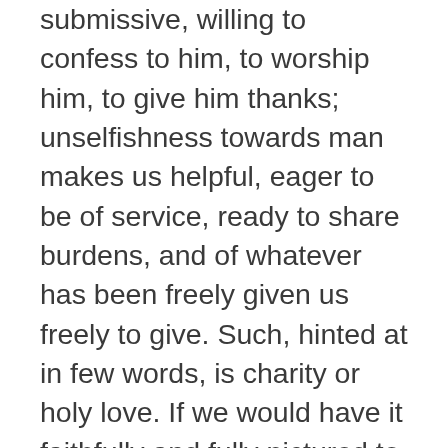submissive, willing to confess to him, to worship him, to give him thanks; unselfishness towards man makes us helpful, eager to be of service, ready to share burdens, and of whatever has been freely given us freely to give. Such, hinted at in few words, is charity or holy love. If we would have it faithfully and fully pictured to us, so far as language possibly can picture it, we must go to that unmatched and matchless portraiture given in the first of the Corinthian letters, where with an eloquence in which the tongues of men and the tongues of angels seem to blend their powers, this same Paul tells us what the greatest and the most abiding of the